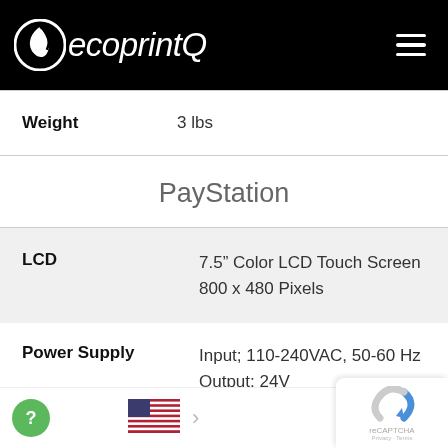ecoprintQ
|  |  |
| --- | --- |
| Weight | 3 lbs |
PayStation
|  |  |
| --- | --- |
| LCD | 7.5” Color LCD Touch Screen 800 x 480 Pixels |
| Power Supply | Input; 110-240VAC, 50-60 Hz Output; 24V... |